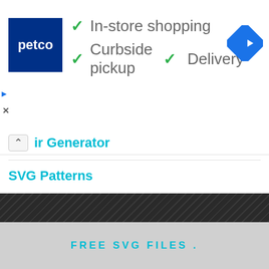[Figure (screenshot): Petco advertisement banner with dark blue Petco logo and checkmarks listing In-store shopping, Curbside pickup, and Delivery services. Blue navigation icon on the right.]
ir Generator
SVG Patterns
Design Your Own SVG Product
FREE SVG FILES .